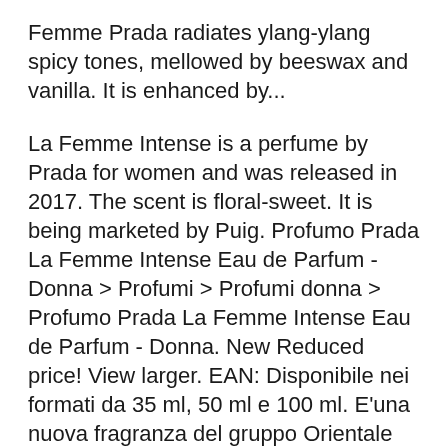Femme Prada radiates ylang-ylang spicy tones, mellowed by beeswax and vanilla. It is enhanced by...
La Femme Intense is a perfume by Prada for women and was released in 2017. The scent is floral-sweet. It is being marketed by Puig. Profumo Prada La Femme Intense Eau de Parfum - Donna > Profumi > Profumi donna > Profumo Prada La Femme Intense Eau de Parfum - Donna. New Reduced price! View larger. EAN: Disponibile nei formati da 35 ml, 50 ml e 100 ml. E'una nuova fragranza del gruppo Orientale Floreale da donna.
La Femme Prada is available in 35, 50